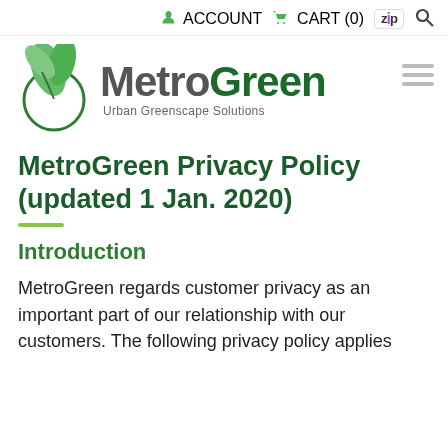ACCOUNT  CART (0)  ZIP  🔍
[Figure (logo): MetroGreen logo with green leaf/plant icon, text 'MetroGreen' (Metro in grey, Green in dark green), tagline 'Urban Greenscape Solutions']
MetroGreen Privacy Policy (updated 1 Jan. 2020)
Introduction
MetroGreen regards customer privacy as an important part of our relationship with our customers. The following privacy policy applies